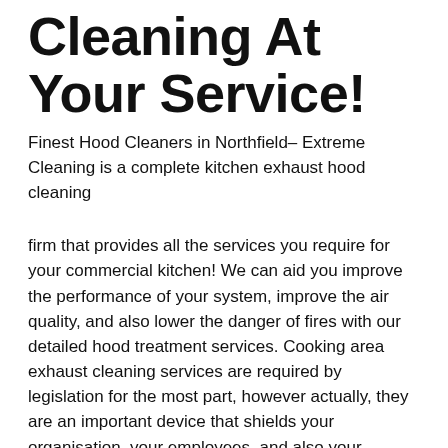Cleaning At Your Service!
Finest Hood Cleaners in Northfield– Extreme Cleaning is a complete kitchen exhaust hood cleaning
firm that provides all the services you require for your commercial kitchen! We can aid you improve the performance of your system, improve the air quality, and also lower the danger of fires with our detailed hood treatment services. Cooking area exhaust cleaning services are required by legislation for the most part, however actually, they are an important device that shields your organisation, your employees, and also your consumers.
Our teams make use of modern equipment and also the most up to date products to give you the most reliable clean